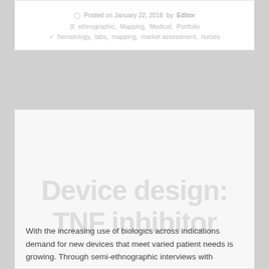Posted on January 22, 2016 by Editor
ethnographic, Mapping, Medical, Portfolio
hematology, labs, mapping, market assessment, nurses
[Figure (illustration): Watermark-style text overlay reading 'Device design: TNF inhibitor' in large light gray bold font on a light gray background]
With the increasing use of biologics across indications demand for new devices that meet varied patient needs is growing. Through semi-ethnographic interviews with